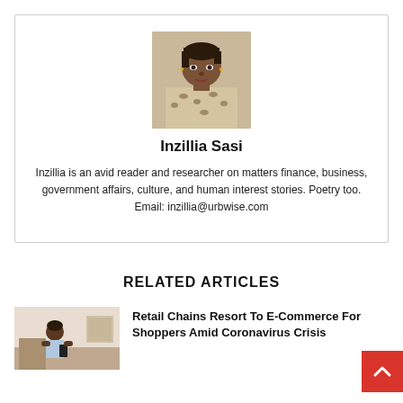[Figure (photo): Author photo of Inzillia Sasi — a young woman wearing a leopard print top, hair pulled back]
Inzillia Sasi
Inzillia is an avid reader and researcher on matters finance, business, government affairs, culture, and human interest stories. Poetry too. Email: inzillia@urbwise.com
RELATED ARTICLES
[Figure (photo): Thumbnail photo of a woman looking at a smartphone or device, related to retail/e-commerce article]
Retail Chains Resort To E-Commerce For Shoppers Amid Coronavirus Crisis